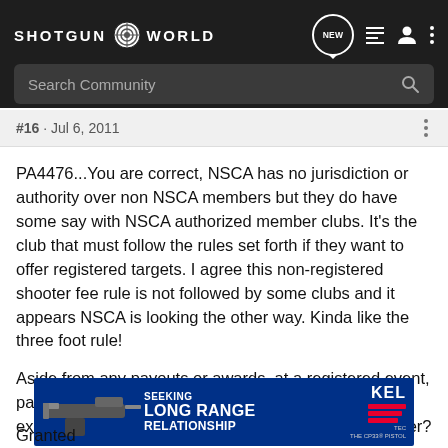SHOTGUN WORLD — Search Community
#16 · Jul 6, 2011
PA4476...You are correct, NSCA has no jurisdiction or authority over non NSCA members but they do have some say with NSCA authorized member clubs. It's the club that must follow the rules set forth if they want to offer registered targets. I agree this non-registered shooter fee rule is not followed by some clubs and it appears NSCA is looking the other way. Kinda like the three foot rule!

Aside from any payouts or awards, at a registered event, particularly a large shoot like The State, how is it less expensive to throw a target for a non-registered shooter?
[Figure (infographic): Kel-Tec CP33 pistol advertisement banner reading SEEKING LONG RANGE RELATIONSHIP with gun image on left and Kel-Tec logo on right]
Granted